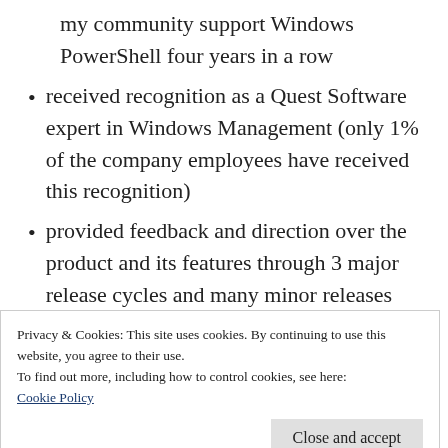my community support Windows PowerShell four years in a row
received recognition as a Quest Software expert in Windows Management (only 1% of the company employees have received this recognition)
provided feedback and direction over the product and its features through 3 major release cycles and many minor releases
supported the product and the community as a PowerPack developer, then as a
Privacy & Cookies: This site uses cookies. By continuing to use this website, you agree to their use.
To find out more, including how to control cookies, see here:
Cookie Policy
Close and accept
that most of the time)